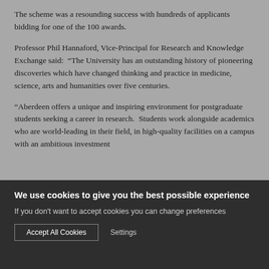The scheme was a resounding success with hundreds of applicants bidding for one of the 100 awards.
Professor Phil Hannaford, Vice-Principal for Research and Knowledge Exchange said:  “The University has an outstanding history of pioneering discoveries which have changed thinking and practice in medicine, science, arts and humanities over five centuries.
“Aberdeen offers a unique and inspiring environment for postgraduate students seeking a career in research.  Students work alongside academics who are world-leading in their field, in high-quality facilities on a campus with an ambitious investment
We use cookies to give you the best possible experience
If you don't want to accept cookies you can change preferences
Accept All Cookies
Settings